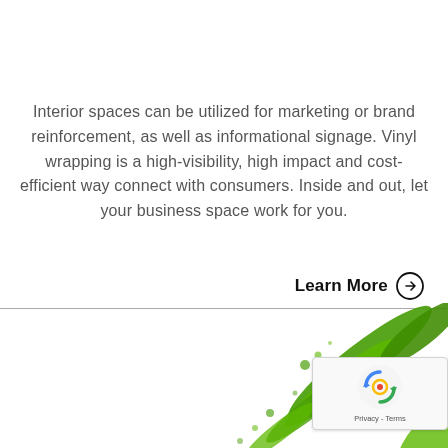Interior spaces can be utilized for marketing or brand reinforcement, as well as informational signage. Vinyl wrapping is a high-visibility, high impact and cost-efficient way connect with consumers. Inside and out, let your business space work for you.
Learn More →
[Figure (illustration): Green paint splash or decorative green graphic element at the bottom of the page, partially visible]
[Figure (logo): Google reCAPTCHA badge with circular arrow logo and Privacy - Terms text]